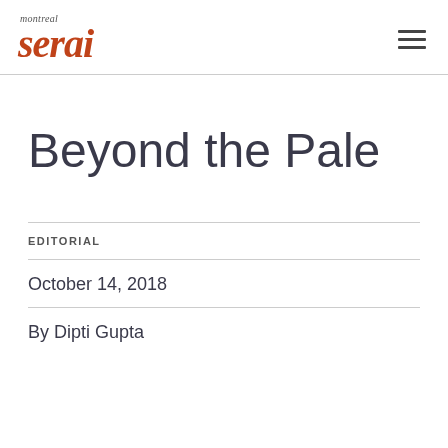montreal serai
Beyond the Pale
EDITORIAL
October 14, 2018
By Dipti Gupta